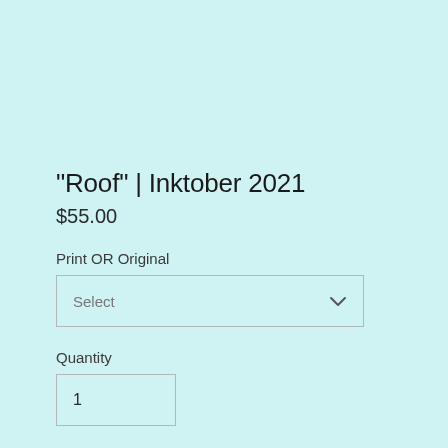"Roof" | Inktober 2021
$55.00
Print OR Original
Select
Quantity
1